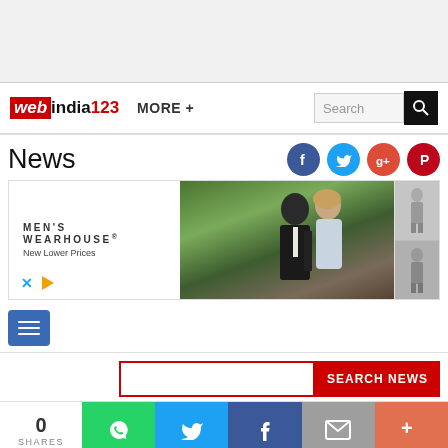[Figure (screenshot): Top gray navigation area of webindia123.com website]
webindia123 MORE + Search
News
[Figure (photo): Men's Wearhouse advertisement banner showing a couple in formal wear]
[Figure (screenshot): Blue hamburger menu button]
[Figure (screenshot): SEARCH NEWS search bar with red button]
0 SHARES
[Figure (screenshot): Social share buttons: WhatsApp, Twitter, Facebook, Email, More]